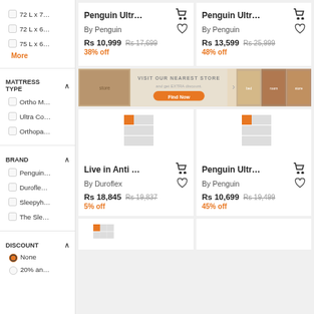72 L x 7...
72 L x 6...
75 L x 6...
More
MATTRESS TYPE
Ortho M...
Ultra Co...
Orthopa...
BRAND
Penguin...
Durofle...
Sleepyh...
The Sle...
DISCOUNT
None
20% an...
Penguin Ultr... By Penguin Rs 10,999 Rs 17,699 38% off
Penguin Ultr... By Penguin Rs 13,599 Rs 25,999 48% off
[Figure (screenshot): Banner ad: VISIT OUR NEAREST STORE and get EXTRA discount. Find Now button. Shows furniture store images.]
Live in Anti ... By Duroflex Rs 18,845 Rs 19,837 5% off
Penguin Ultr... By Penguin Rs 10,699 Rs 19,499 45% off